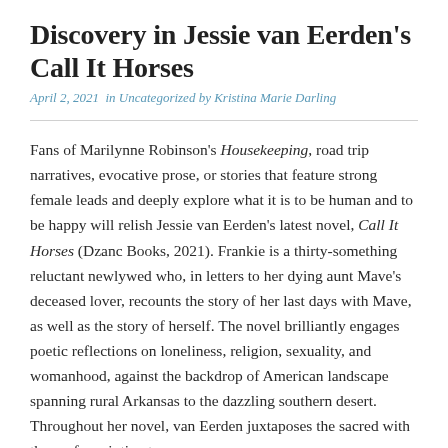Discovery in Jessie van Eerden's Call It Horses
April 2, 2021  in Uncategorized by Kristina Marie Darling
Fans of Marilynne Robinson's Housekeeping, road trip narratives, evocative prose, or stories that feature strong female leads and deeply explore what it is to be human and to be happy will relish Jessie van Eerden's latest novel, Call It Horses (Dzanc Books, 2021). Frankie is a thirty-something reluctant newlywed who, in letters to her dying aunt Mave's deceased lover, recounts the story of her last days with Mave, as well as the story of herself. The novel brilliantly engages poetic reflections on loneliness, religion, sexuality, and womanhood, against the backdrop of American landscape spanning rural Arkansas to the dazzling southern desert. Throughout her novel, van Eerden juxtaposes the sacred with the profane: intimate,